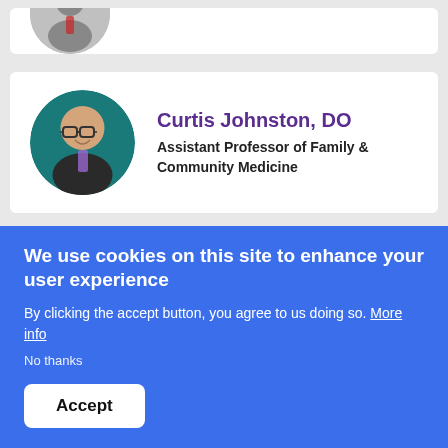[Figure (photo): Partial top of a person profile card, cropped at the top of the page]
[Figure (photo): Circular headshot of Curtis Johnston, DO — bald man with glasses wearing a suit and tie, teal background]
Curtis Johnston, DO
Assistant Professor of Family & Community Medicine
[Figure (photo): Circular headshot of Amanda Krus-Johnston, DO — woman with glasses and shoulder-length hair, teal background]
Amanda Krus- Johnston, DO
We use cookies on this site to enhance your user experience
By clicking the accept button, you agree to us doing so. More info
No thanks
Accept